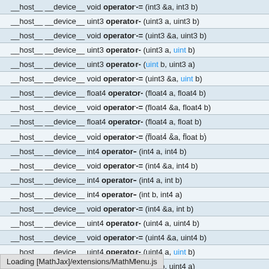| __host__ __device__ void operator-= (int3 &a, int3 b) |
| __host__ __device__ uint3 operator- (uint3 a, uint3 b) |
| __host__ __device__ void operator-= (uint3 &a, uint3 b) |
| __host__ __device__ uint3 operator- (uint3 a, uint b) |
| __host__ __device__ uint3 operator- (uint b, uint3 a) |
| __host__ __device__ void operator-= (uint3 &a, uint b) |
| __host__ __device__ float4 operator- (float4 a, float4 b) |
| __host__ __device__ void operator-= (float4 &a, float4 b) |
| __host__ __device__ float4 operator- (float4 a, float b) |
| __host__ __device__ void operator-= (float4 &a, float b) |
| __host__ __device__ int4 operator- (int4 a, int4 b) |
| __host__ __device__ void operator-= (int4 &a, int4 b) |
| __host__ __device__ int4 operator- (int4 a, int b) |
| __host__ __device__ int4 operator- (int b, int4 a) |
| __host__ __device__ void operator-= (int4 &a, int b) |
| __host__ __device__ uint4 operator- (uint4 a, uint4 b) |
| __host__ __device__ void operator-= (uint4 &a, uint4 b) |
| __host__ __device__ uint4 operator- (uint4 a, uint b) |
| __host__ __device__ uint4 operator- (uint b, uint4 a) |
| __host__ __device__ void operator-= (uint4 &a, uint b) |
| __host__ __device__ float2 operator* (float2 a, float2 b) |
| __host__ __device__ void operator*= (float2 &a, float2 b) |
| __host__ __device__ float2 operator- (float2 a, float b) |
Loading [MathJax]/extensions/MathMenu.js